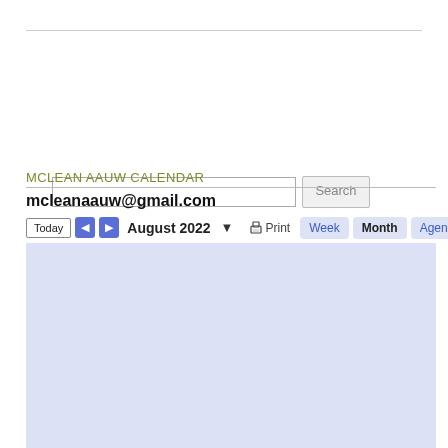[Figure (screenshot): Search bar with text input field and Search button]
MCLEAN AAUW CALENDAR
mcleanaauw@gmail.com
[Figure (screenshot): Google Calendar toolbar showing Today button, navigation arrows, August 2022 month selector, Print button, Week/Month/Agenda view buttons, and a Loading... badge. Below is a light blue calendar grid area.]